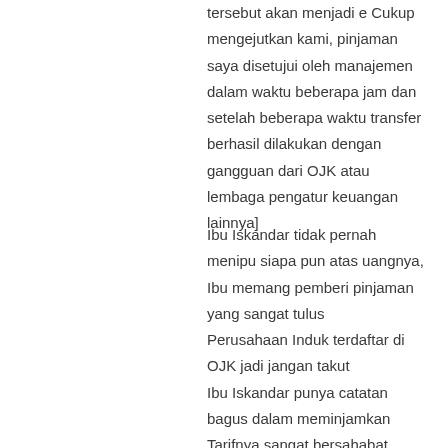tersebut akan menjadi e Cukup mengejutkan kami, pinjaman saya disetujui oleh manajemen dalam waktu beberapa jam dan setelah beberapa waktu transfer berhasil dilakukan dengan gangguan dari OJK atau lembaga pengatur keuangan lainnya]
Ibu Iskandar tidak pernah menipu siapa pun atas uangnya,
Ibu memang pemberi pinjaman yang sangat tulus
Perusahaan Induk terdaftar di OJK jadi jangan takut
Ibu Iskandar punya catatan bagus dalam meminjamkan
Tarifnya sangat bersahabat dibandingkan dengan Bank